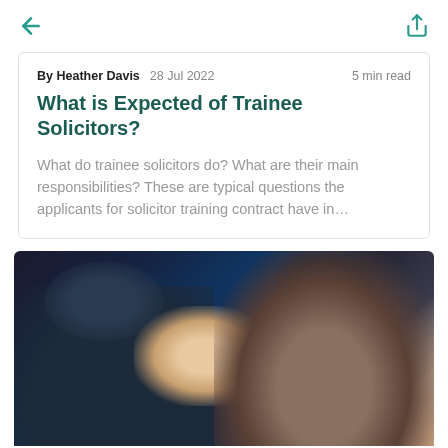← (back) | (share)
By Heather Davis   28 Jul 2022   5 min read
What is Expected of Trainee Solicitors?
What do trainee solicitors do? What are their main responsibilities? These are typical questions the applicants for solicitor training contract have in…
[Figure (photo): A person writing in a notebook at what appears to be a conference or seminar, with blurred audience and dark background.]